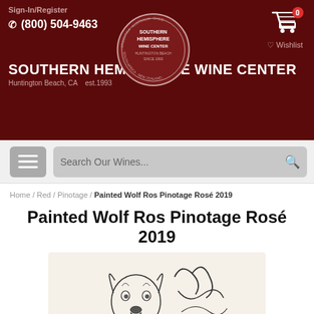Sign-In/Register
(800) 504-9463
[Figure (logo): Southern Hemisphere Wine Center circular logo with text around the border: Argentina, Australia, Chile, South Africa, New Zealand. Center text: SOUTHERN HEMISPHERE WINE CENTER HUNTINGTON BEACH SINCE 1993]
[Figure (other): Shopping cart icon with red badge showing 0, and Wishlist link with heart icon below]
SOUTHERN HEMISPHERE WINE CENTER
Huntington Beach, CA   est.1993
[Figure (other): Navigation bar with hamburger menu button and search field reading 'Search Our Wines...' with magnifying glass icon]
Home / Red / Pinotage / Painted Wolf Ros Pinotage Rosé 2019
Painted Wolf Ros Pinotage Rosé 2019
[Figure (illustration): Partial wine bottle label illustration on cream background showing a painted wolf dog (wild dog) face sketch and cursive text/signature, bottom portion of the label cut off]